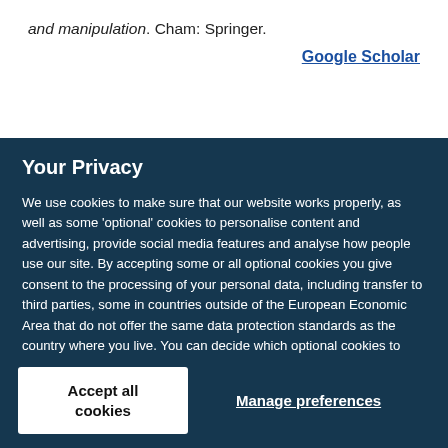and manipulation. Cham: Springer.
Google Scholar
Your Privacy
We use cookies to make sure that our website works properly, as well as some ‘optional’ cookies to personalise content and advertising, provide social media features and analyse how people use our site. By accepting some or all optional cookies you give consent to the processing of your personal data, including transfer to third parties, some in countries outside of the European Economic Area that do not offer the same data protection standards as the country where you live. You can decide which optional cookies to accept by clicking on ‘Manage Settings’, where you can also find more information about how your personal data is processed. Further information can be found in our privacy policy.
Accept all cookies
Manage preferences